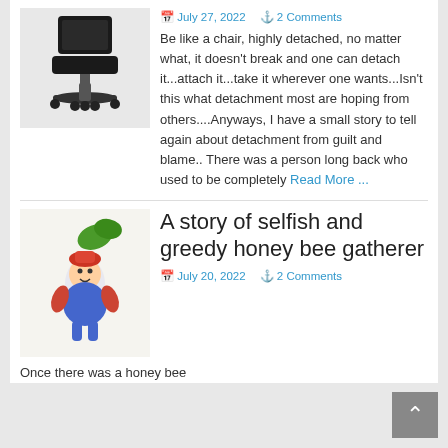[Figure (photo): Photo of an office/desk chair with black upholstery and wheeled base on a light background]
July 27, 2022  2 Comments
Be like a chair, highly detached, no matter what, it doesn't break and one can detach it...attach it...take it wherever one wants...Isn't this what detachment most are hoping from others....Anyways, I have a small story to tell again about detachment from guilt and blame.. There was a person long back who used to be completely Read More ...
A story of selfish and greedy honey bee gatherer
July 20, 2022  2 Comments
[Figure (illustration): Colorful hand-drawn illustration of cartoon bee characters on a light background]
Once there was a honey bee